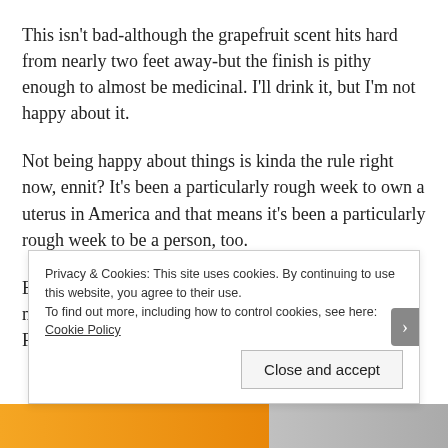This isn't bad-although the grapefruit scent hits hard from nearly two feet away-but the finish is pithy enough to almost be medicinal. I'll drink it, but I'm not happy about it.
Not being happy about things is kinda the rule right now, ennit? It's been a particularly rough week to own a uterus in America and that means it's been a particularly rough week to be a person, too.
Because being reminded that your bodily autonomy is not in your hands and is not to be respected by the Powers that Be, t
Privacy & Cookies: This site uses cookies. By continuing to use this website, you agree to their use.
To find out more, including how to control cookies, see here: Cookie Policy
Close and accept